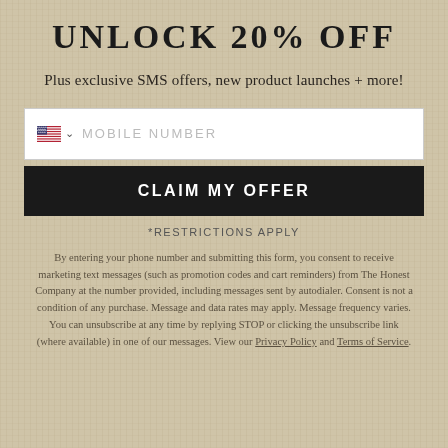UNLOCK 20% OFF
Plus exclusive SMS offers, new product launches + more!
MOBILE NUMBER
CLAIM MY OFFER
*RESTRICTIONS APPLY
By entering your phone number and submitting this form, you consent to receive marketing text messages (such as promotion codes and cart reminders) from The Honest Company at the number provided, including messages sent by autodialer. Consent is not a condition of any purchase. Message and data rates may apply. Message frequency varies. You can unsubscribe at any time by replying STOP or clicking the unsubscribe link (where available) in one of our messages. View our Privacy Policy and Terms of Service.